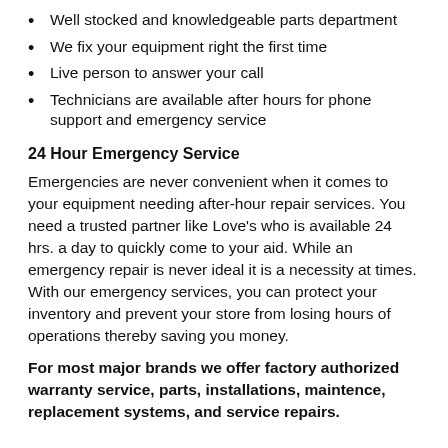Well stocked and knowledgeable parts department
We fix your equipment right the first time
Live person to answer your call
Technicians are available after hours for phone support and emergency service
24 Hour Emergency Service
Emergencies are never convenient when it comes to your equipment needing after-hour repair services. You need a trusted partner like Love's who is available 24 hrs. a day to quickly come to your aid. While an emergency repair is never ideal it is a necessity at times. With our emergency services, you can protect your inventory and prevent your store from losing hours of operations thereby saving you money.
For most major brands we offer factory authorized warranty service, parts, installations, maintence, replacement systems, and service repairs.